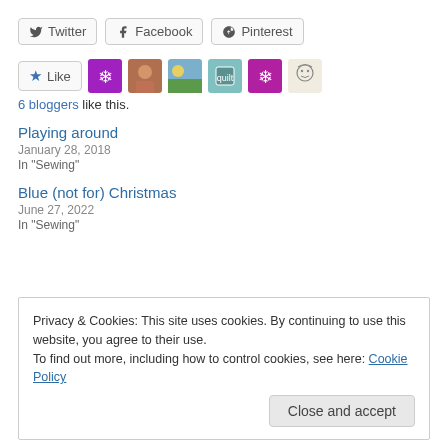[Figure (other): Social share buttons: Twitter, Facebook, Pinterest]
[Figure (other): Like button and 6 blogger avatar icons]
6 bloggers like this.
Playing around
January 28, 2018
In "Sewing"
Blue (not for) Christmas
June 27, 2022
In "Sewing"
Privacy & Cookies: This site uses cookies. By continuing to use this website, you agree to their use.
To find out more, including how to control cookies, see here: Cookie Policy